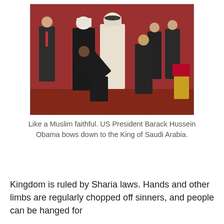[Figure (photo): A group of formally dressed men at what appears to be an official reception. One man in a dark suit is bowing deeply toward another man in traditional Arab dress (white thobe and keffiyeh), while other suited officials stand around them in a room with red decor.]
Like a Muslim faithful. US President Barack Hussein Obama bows down to the King of Saudi Arabia.
Kingdom is ruled by Sharia laws. Hands and other limbs are regularly chopped off sinners, and people can be hanged for